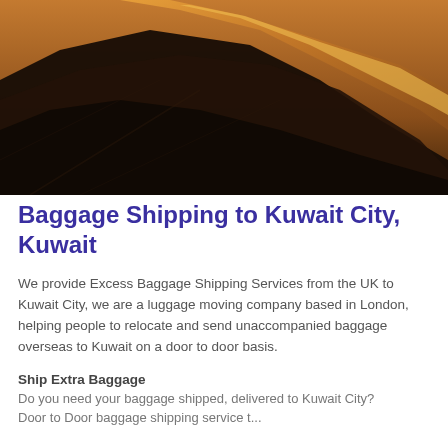[Figure (photo): Aerial view of sand dunes with dramatic light and shadow contrast — dark shadowed dune in foreground, bright golden sunlit ridge in background]
Baggage Shipping to Kuwait City, Kuwait
We provide Excess Baggage Shipping Services from the UK to Kuwait City, we are a luggage moving company based in London, helping people to relocate and send unaccompanied baggage overseas to Kuwait on a door to door basis.
Ship Extra Baggage
Do you need your baggage shipped, delivered to Kuwait City?
Door to Door baggage shipping service t...